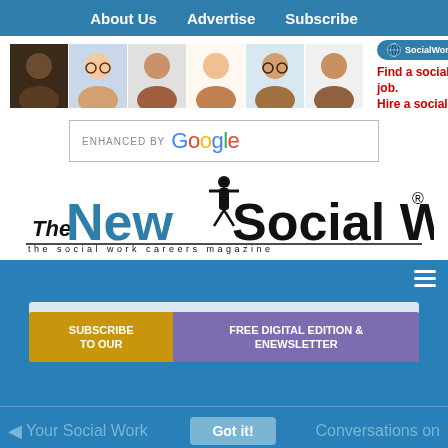About Us  Advertise  Subscribe
[Figure (photo): Six diverse professional headshots (social workers) arranged in a row]
[Figure (logo): SocialWorkJobBank logo with globe icon and text: Find a social work job. Hire a social worker]
[Figure (screenshot): Google search bar with text: ENHANCED BY Google]
[Figure (logo): The New Social Worker - the social work careers magazine logo]
[Figure (infographic): Subscribe banner with two sections: left yellow 'SUBSCRIBE TO OUR' and right purple 'FREE DIGITAL EDITION & ENEWSLETTER']
This website uses cookies to ensure you get the best experience on our website. Learn more
Your Social Work  Got it!  Conversations on
Follow us!